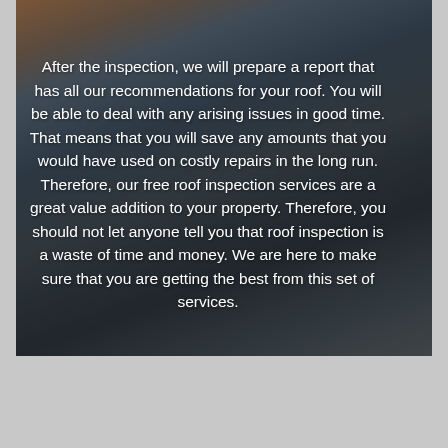[Figure (photo): A person working on a dark corrugated metal roof, with a brick wall and building visible in the background. A hand tool (drill) is visible. The image has a semi-transparent dark overlay with white text on top.]
After the inspection, we will prepare a report that has all our recommendations for your roof. You will be able to deal with any arising issues in good time. That means that you will save any amounts that you would have used on costly repairs in the long run. Therefore, our free roof inspection services are a great value addition to your property. Therefore, you should not let anyone tell you that roof inspection is a waste of time and money. We are here to make sure that you are getting the best from this set of services.